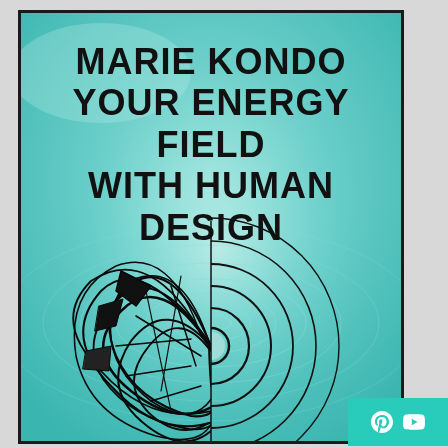[Figure (illustration): Poster with teal water ripple background, bold black text reading MARIE KONDO YOUR ENERGY FIELD WITH HUMAN DESIGN, and a split graphic showing chaotic black scribbles on the left half and concentric circles on the right half of a circular motif in the lower portion. Small teal badge with Pinterest and YouTube icons in the bottom-right corner.]